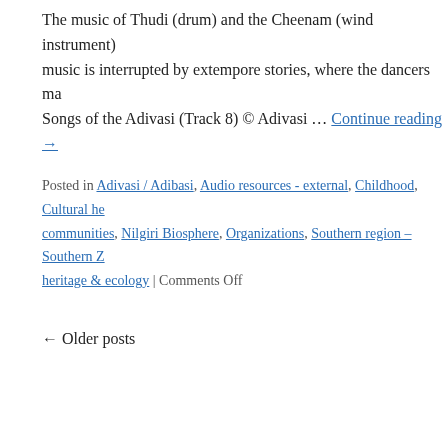The music of Thudi (drum) and the Cheenam (wind instrument)... music is interrupted by extempore stories, where the dancers ma... Songs of the Adivasi (Track 8) © Adivasi … Continue reading →
Posted in Adivasi / Adibasi, Audio resources - external, Childhood, Cultural he... communities, Nilgiri Biosphere, Organizations, Southern region – Southern Z... heritage & ecology | Comments Off
← Older posts